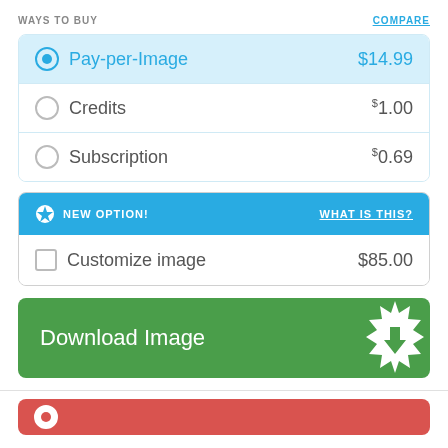WAYS TO BUY
COMPARE
| Option | Price |
| --- | --- |
| Pay-per-Image | $14.99 |
| Credits | $1.00 |
| Subscription | $0.69 |
NEW OPTION!    WHAT IS THIS?
| Option | Price |
| --- | --- |
| Customize image | $85.00 |
Download Image